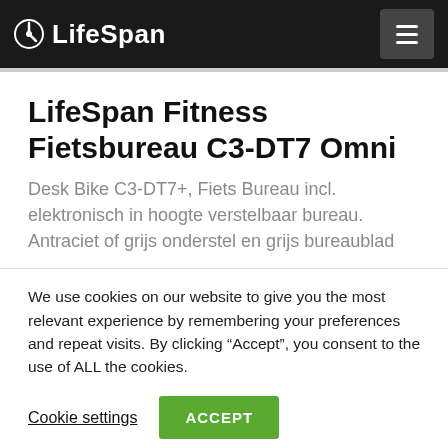LifeSpan
LifeSpan Fitness Fietsbureau C3-DT7 Omni
Desk Bike C3-DT7+, Fiets Bureau incl. elektronisch in hoogte verstelbaar bureau. Antraciet of grijs onderstel en grijs bureaublad
We use cookies on our website to give you the most relevant experience by remembering your preferences and repeat visits. By clicking “Accept”, you consent to the use of ALL the cookies.
Cookie settings   ACCEPT